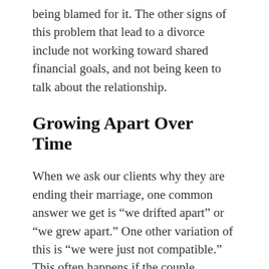being blamed for it. The other signs of this problem that lead to a divorce include not working toward shared financial goals, and not being keen to talk about the relationship.
Growing Apart Over Time
When we ask our clients why they are ending their marriage, one common answer we get is “we drifted apart” or “we grew apart.” One other variation of this is “we were just not compatible.” This often happens if the couple married too young or experienced a lack of shared values. In some cases, religious differences or sexual difficulties can also cause incompatibility between two partners.
Although some couples live with and even enjoy